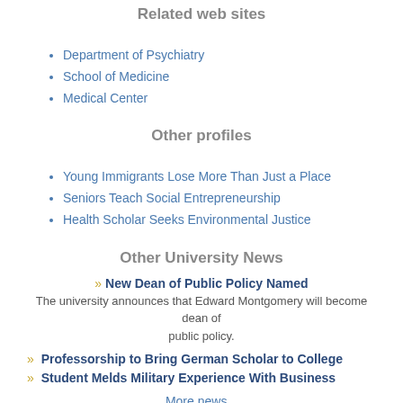Related web sites
Department of Psychiatry
School of Medicine
Medical Center
Other profiles
Young Immigrants Lose More Than Just a Place
Seniors Teach Social Entrepreneurship
Health Scholar Seeks Environmental Justice
Other University News
» New Dean of Public Policy Named
The university announces that Edward Montgomery will become dean of public policy.
» Professorship to Bring German Scholar to College
» Student Melds Military Experience With Business
More news...